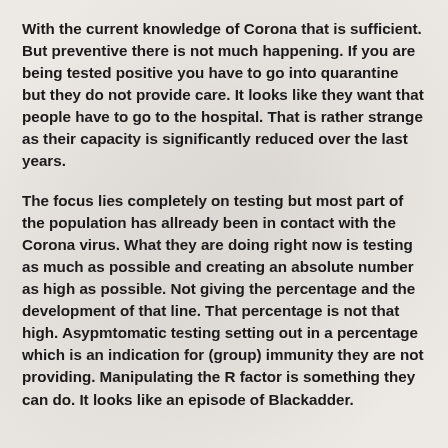With the current knowledge of Corona that is sufficient. But preventive there is not much happening. If you are being tested positive you have to go into quarantine but they do not provide care. It looks like they want that people have to go to the hospital. That is rather strange as their capacity is significantly reduced over the last years.
The focus lies completely on testing but most part of the population has allready been in contact with the Corona virus. What they are doing right now is testing as much as possible and creating an absolute number as high as possible. Not giving the percentage and the development of that line. That percentage is not that high. Asypmtomatic testing setting out in a percentage which is an indication for (group) immunity they are not providing. Manipulating the R factor is something they can do. It looks like an episode of Blackadder.